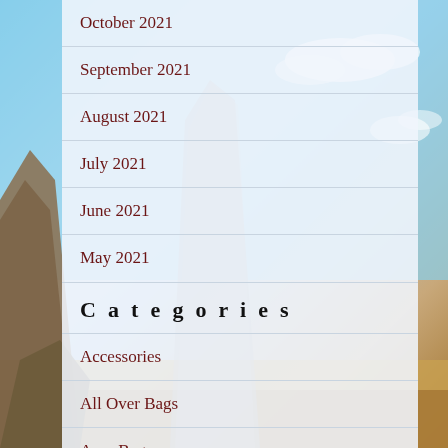October 2021
September 2021
August 2021
July 2021
June 2021
May 2021
Categories
Accessories
All Over Bags
Arco Bag
Azap Wallet